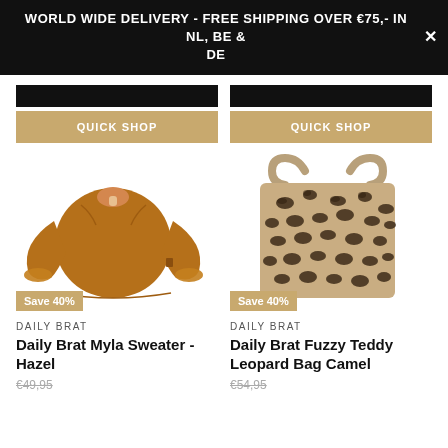WORLD WIDE DELIVERY - FREE SHIPPING OVER €75,- IN NL, BE & DE
[Figure (other): Quick shop button bar for left product]
[Figure (other): Quick shop button bar for right product]
[Figure (photo): Daily Brat Myla Sweater in Hazel color - an orange/caramel long sleeve top with ruffled cuffs and collar keyhole, with 'Save 40%' badge]
[Figure (photo): Daily Brat Fuzzy Teddy Leopard Bag Camel - a leopard print tote bag with handles, with 'Save 40%' badge]
DAILY BRAT
Daily Brat Myla Sweater - Hazel
€49,95
DAILY BRAT
Daily Brat Fuzzy Teddy Leopard Bag Camel
€54,95